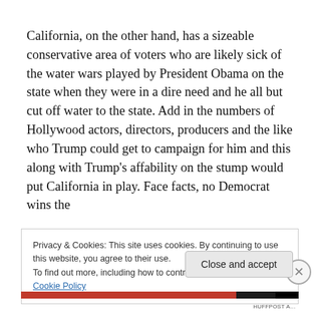California, on the other hand, has a sizeable conservative area of voters who are likely sick of the water wars played by President Obama on the state when they were in a dire need and he all but cut off water to the state. Add in the numbers of Hollywood actors, directors, producers and the like who Trump could get to campaign for him and this along with Trump's affability on the stump would put California in play. Face facts, no Democrat wins the
Privacy & Cookies: This site uses cookies. By continuing to use this website, you agree to their use.
To find out more, including how to control cookies, see here: Cookie Policy
Close and accept